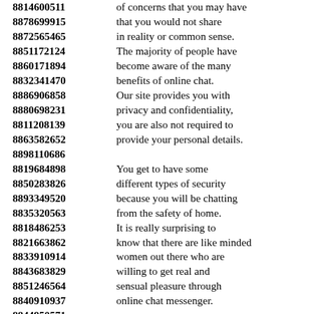8814600511 of concerns that you may have
8878699915 that you would not share
8872565465 in reality or common sense.
8851172124 The majority of people have
8860171894 become aware of the many
8832341470 benefits of online chat.
8886906858 Our site provides you with
8880698231 privacy and confidentiality,
8811208139 you are also not required to
8863582652 provide your personal details.
8898110686
8819684898 You get to have some
8850283826 different types of security
8893349520 because you will be chatting
8835320563 from the safety of home.
8818486253 It is really surprising to
8821663862 know that there are like minded
8833910914 women out there who are
8843683829 willing to get real and
8851246564 sensual pleasure through
8840910937 online chat messenger.
8844950571
8878595926 The process of meeting with
8857406331 women for single men
8836558573 is fast and convenient and you
8815129485 have to find these people